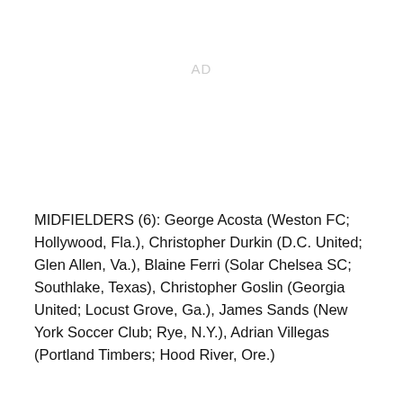AD
MIDFIELDERS (6): George Acosta (Weston FC; Hollywood, Fla.), Christopher Durkin (D.C. United; Glen Allen, Va.), Blaine Ferri (Solar Chelsea SC; Southlake, Texas), Christopher Goslin (Georgia United; Locust Grove, Ga.), James Sands (New York Soccer Club; Rye, N.Y.), Adrian Villegas (Portland Timbers; Hood River, Ore.)